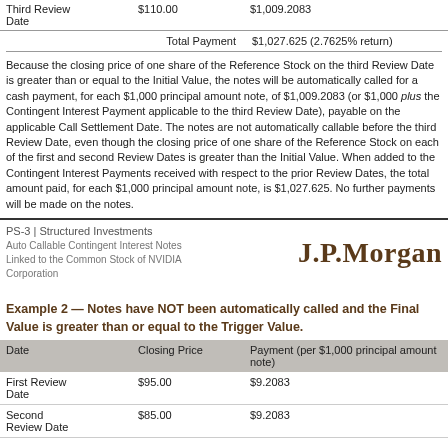|  |  |  |
| --- | --- | --- |
| Third Review Date | $110.00 | $1,009.2083 |
|  | Total Payment | $1,027.625 (2.7625% return) |
Because the closing price of one share of the Reference Stock on the third Review Date is greater than or equal to the Initial Value, the notes will be automatically called for a cash payment, for each $1,000 principal amount note, of $1,009.2083 (or $1,000 plus the Contingent Interest Payment applicable to the third Review Date), payable on the applicable Call Settlement Date. The notes are not automatically callable before the third Review Date, even though the closing price of one share of the Reference Stock on each of the first and second Review Dates is greater than the Initial Value. When added to the Contingent Interest Payments received with respect to the prior Review Dates, the total amount paid, for each $1,000 principal amount note, is $1,027.625. No further payments will be made on the notes.
PS-3 | Structured Investments
Auto Callable Contingent Interest Notes Linked to the Common Stock of NVIDIA Corporation
[Figure (logo): J.P.Morgan logo in dark brown serif font]
Example 2 — Notes have NOT been automatically called and the Final Value is greater than or equal to the Trigger Value.
| Date | Closing Price | Payment (per $1,000 principal amount note) |
| --- | --- | --- |
| First Review Date | $95.00 | $9.2083 |
| Second Review Date | $85.00 | $9.2083 |